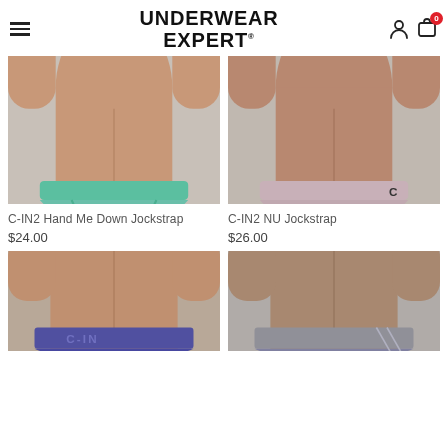UNDERWEAR EXPERT
[Figure (photo): Torso of male model wearing green/teal jockstrap, front view]
[Figure (photo): Torso of male model wearing pink/mauve jockstrap, front view]
C-IN2 Hand Me Down Jockstrap
$24.00
C-IN2 NU Jockstrap
$26.00
[Figure (photo): Torso of male model wearing purple underwear, front view, partially visible]
[Figure (photo): Torso of male model wearing gray underwear, front view, partially visible]